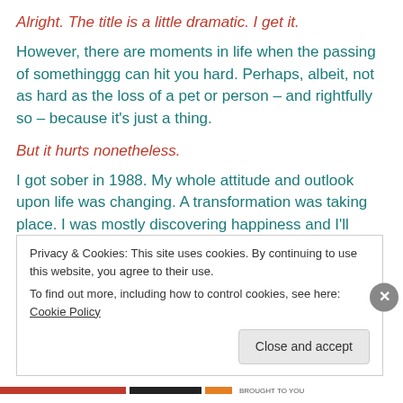Alright. The title is a little dramatic. I get it.
However, there are moments in life when the passing of somethinggg can hit you hard. Perhaps, albeit, not as hard as the loss of a pet or person – and rightfully so – because it's just a thing.
But it hurts nonetheless.
I got sober in 1988. My whole attitude and outlook upon life was changing. A transformation was taking place. I was mostly discovering happiness and I'll never forget the
Privacy & Cookies: This site uses cookies. By continuing to use this website, you agree to their use.
To find out more, including how to control cookies, see here: Cookie Policy
Close and accept